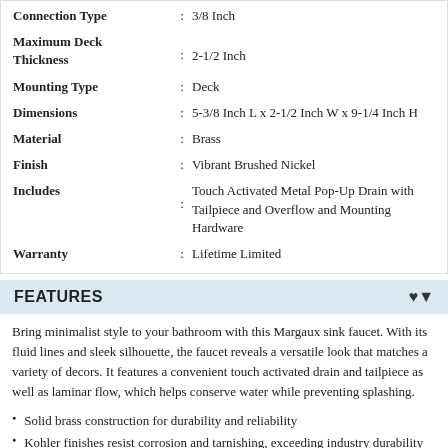| Attribute |  | Value |
| --- | --- | --- |
| Connection Type | : | 3/8 Inch |
| Maximum Deck Thickness | : | 2-1/2 Inch |
| Mounting Type | : | Deck |
| Dimensions | : | 5-3/8 Inch L x 2-1/2 Inch W x 9-1/4 Inch H |
| Material | : | Brass |
| Finish | : | Vibrant Brushed Nickel |
| Includes | : | Touch Activated Metal Pop-Up Drain with Tailpiece and Overflow and Mounting Hardware |
| Warranty | : | Lifetime Limited |
FEATURES
Bring minimalist style to your bathroom with this Margaux sink faucet. With its fluid lines and sleek silhouette, the faucet reveals a versatile look that matches a variety of decors. It features a convenient touch activated drain and tailpiece as well as laminar flow, which helps conserve water while preventing splashing.
Solid brass construction for durability and reliability
Kohler finishes resist corrosion and tarnishing, exceeding industry durability standards over two times
Flexible supply lines
Complements Margaux™ faucet and accessory line
Ceramic disk valves exceed industry longevity standards by over two times, ensuring durable performance for life
Fluid design lines for ease of cleaning